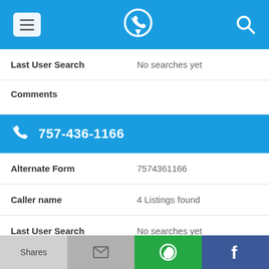App header with hamburger menu, phone/location logo, and search icon
Last User Search — No searches yet
Comments
757-436-1166
Alternate Form — 7574361166
Caller name — 4 Listings found
Last User Search — No searches yet
Comments
Shares | (email) | (WhatsApp) | (Facebook)